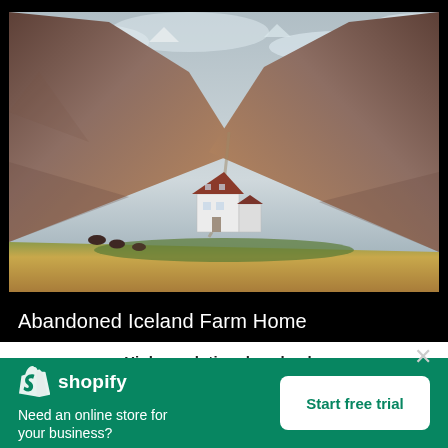[Figure (photo): Photograph of an abandoned Icelandic farm home in a wide valley with steep brown mountain slopes on either side, cloudy sky, green/brown landscape, white house with red roof in the center.]
Abandoned Iceland Farm Home
High resolution download ↓
[Figure (logo): Shopify logo: white shopping bag icon with 'shopify' wordmark in white text on teal/green background]
Need an online store for your business?
Start free trial